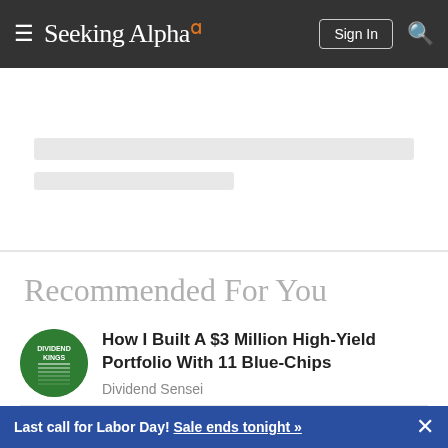Seeking Alpha
Recommended For You
How I Built A $3 Million High-Yield Portfolio With 11 Blue-Chips
Dividend Sensei
BlackRock: Buy This Monster Dividend Stock
Last call for Labor Day! Sale ends tonight »